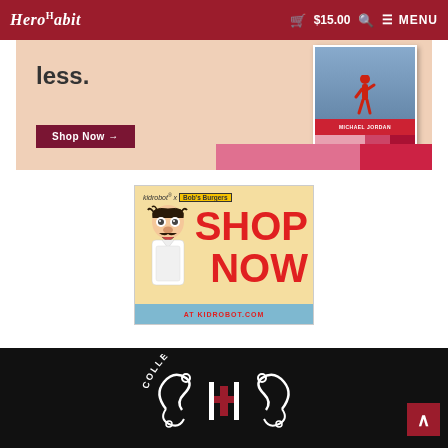HeroHabit  🛒 $15.00  🔍  ☰ MENU
[Figure (illustration): Promotional banner ad with peach/salmon background showing 'less.' text, a Shop Now button, and a basketball trading card (Michael Jordan) in the top-right area with pink/red color blocks at the bottom.]
[Figure (illustration): Kidrobot x Bob's Burgers advertisement with tan/cream background, cartoon character on left, large red text 'SHOP NOW', header 'kidrobot x Bob's Burgers', and footer text 'AT KIDROBOT.COM' over a teal tile strip.]
[Figure (logo): HeroHabit footer logo on black background — white ornate script with red elements and text 'Collect Your Heroes' in an arc.]